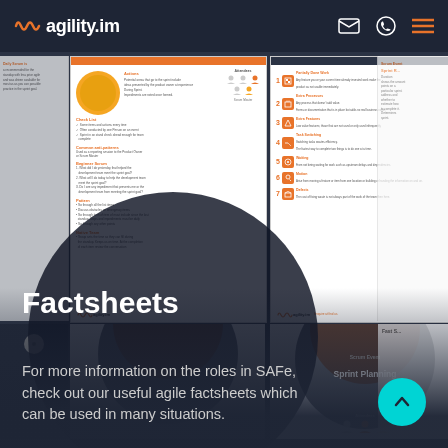agility.im
[Figure (screenshot): Collage of agility.im factsheet documents including Scrum, 7 Wastes, Business Analyst, Sprint Planning, and other agile reference cards displayed as a grid]
Factsheets
For more information on the roles in SAFe, check out our useful agile factsheets which can be used in many situations.